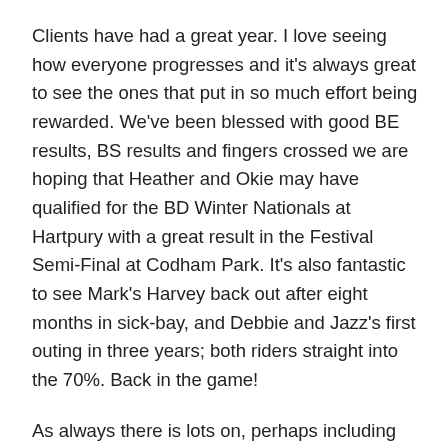Clients have had a great year. I love seeing how everyone progresses and it's always great to see the ones that put in so much effort being rewarded. We've been blessed with good BE results, BS results and fingers crossed we are hoping that Heather and Okie may have qualified for the BD Winter Nationals at Hartpury with a great result in the Festival Semi-Final at Codham Park. It's also fantastic to see Mark's Harvey back out after eight months in sick-bay, and Debbie and Jazz's first outing in three years; both riders straight into the 70%. Back in the game!
As always there is lots on, perhaps including an indoor dressage outing with BomBoms. Her last was three years ago. She got to X on the centre line, reared, spun and legged it back to the warm-up. I'll let you know how we get on!